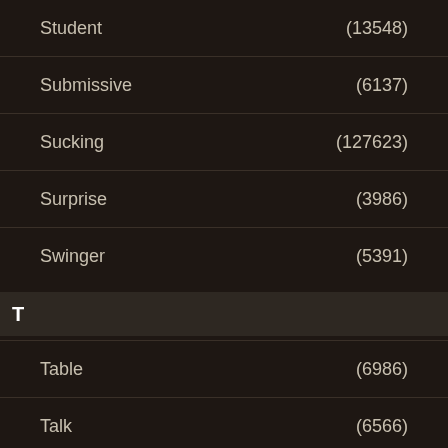Student (13548)
Submissive (6137)
Sucking (127623)
Surprise (3986)
Swinger (5391)
T
Table (6986)
Talk (6566)
Tanned (6756)
Tattoo (41384)
Teacher (7966)